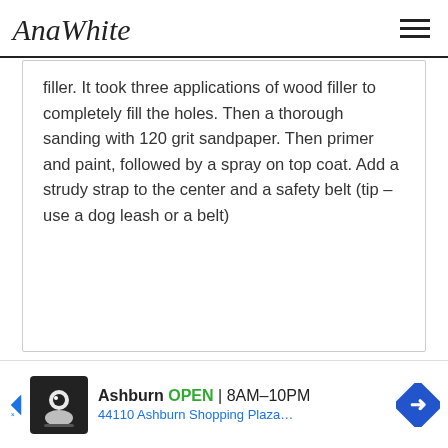AnaWhite
filler. It took three applications of wood filler to completely fill the holes. Then a thorough sanding with 120 grit sandpaper. Then primer and paint, followed by a spray on top coat. Add a strudy strap to the center and a safety belt (tip – use a dog leash or a belt)
[Figure (other): Advertisement banner: Ashburn OPEN 8AM-10PM, 44110 Ashburn Shopping Plaza...]